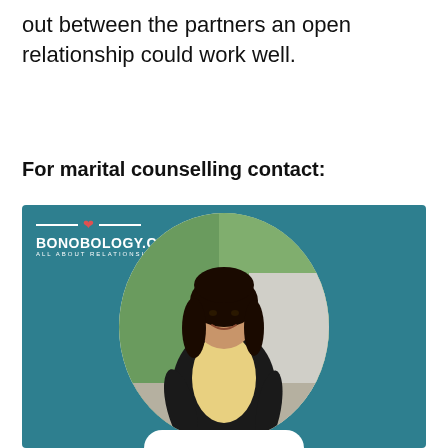out between the partners an open relationship could work well.
For marital counselling contact:
[Figure (photo): Bonobology.com promotional card with teal background. Logo in top-left with two horizontal lines flanking a red heart and text 'BONOBOLOGY.COM / ALL ABOUT RELATIONSHIPS'. Center shows a circular framed photo of a woman with dark hair wearing a yellow shirt and black blazer, smiling, standing outdoors. Bottom shows partial white rounded button.]